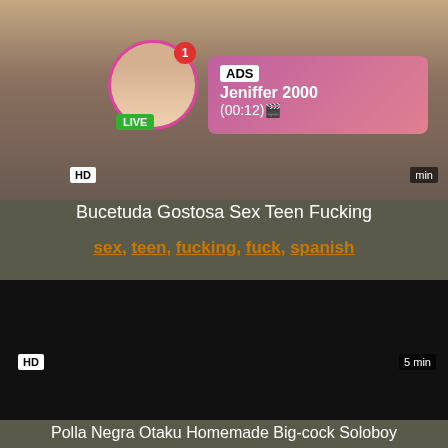[Figure (screenshot): Top video thumbnail with brownish background, HD badge, and duration badge. Overlaid with an ad popup showing avatar with pink circle border, LIVE green badge, notification badge, and pink gradient box with ADS label, Jeniffer 2000 name, and (00:12) time.]
Bucetuda Gostosa Sex Teen Fucking
sex, teen, fucking, fuck, spanish
[Figure (screenshot): Bottom video thumbnail with black background, HD badge bottom-left, 5 min badge bottom-right.]
Polla Negra Otaku Homemade Big-cock Soloboy